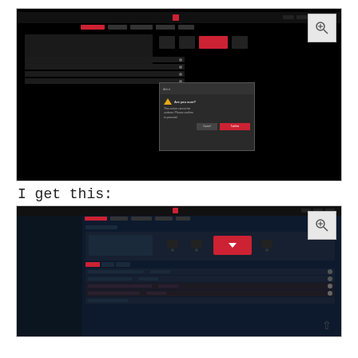[Figure (screenshot): Dark-themed software UI screenshot showing a black background with a confirmation/warning modal dialog in the center. The modal has a warning triangle icon and action buttons including a red confirm button.]
I get this:
[Figure (screenshot): Dark navy-themed software UI screenshot showing the same application interface with a sidebar, top navigation bar with a red logo, device management panel with icons and a red install/download button, and a list of items below.]